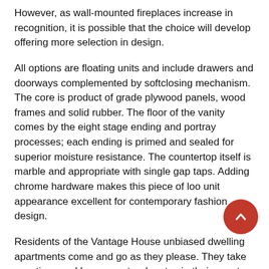However, as wall-mounted fireplaces increase in recognition, it is possible that the choice will develop offering more selection in design.
All options are floating units and include drawers and doorways complemented by softclosing mechanism. The core is product of grade plywood panels, wood frames and solid rubber. The floor of the vanity comes by the eight stage ending and portray processes; each ending is primed and sealed for superior moisture resistance. The countertop itself is marble and appropriate with single gap taps. Adding chrome hardware makes this piece of loo unit appearance excellent for contemporary fashion design.
Residents of the Vantage House unbiased dwelling apartments come and go as they please. They take vacations and have guests who stay in their guest suites. They select to reside at Vantage Home because the services supplied give them more time to get pleasure from their retirement.